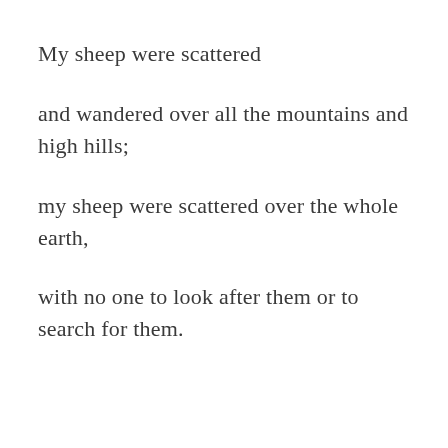My sheep were scattered
and wandered over all the mountains and high hills;
my sheep were scattered over the whole earth,
with no one to look after them or to search for them.